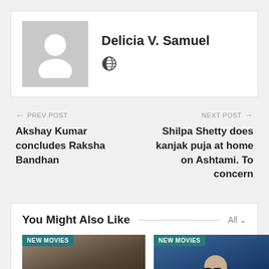[Figure (photo): Author avatar placeholder with silhouette icon]
Delicia V. Samuel
[Figure (other): Globe/world icon]
← PREV POST
Akshay Kumar concludes Raksha Bandhan
NEXT POST →
Shilpa Shetty does kanjak puja at home on Ashtami. To concern
You Might Also Like
[Figure (photo): Movie thumbnail with NEW MOVIES label - dark action scene]
[Figure (photo): Movie thumbnail with NEW MOVIES label - man with glasses on blue background]